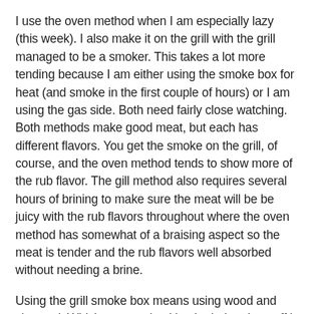I use the oven method when I am especially lazy (this week). I also make it on the grill with the grill managed to be a smoker. This takes a lot more tending because I am either using the smoke box for heat (and smoke in the first couple of hours) or I am using the gas side. Both need fairly close watching. Both methods make good meat, but each has different flavors. You get the smoke on the grill, of course, and the oven method tends to show more of the rub flavor. The gill method also requires several hours of brining to make sure the meat will be be juicy with the rub flavors throughout where the oven method has somewhat of a braising aspect so the meat is tender and the rub flavors well absorbed without needing a brine.
Using the grill smoke box means using wood and charcoal. Which means checking both that the stuff is burning and that the heat is regulated. Keep a low-but-adequate heat in the 210°-230° range takes some close watching on the grill